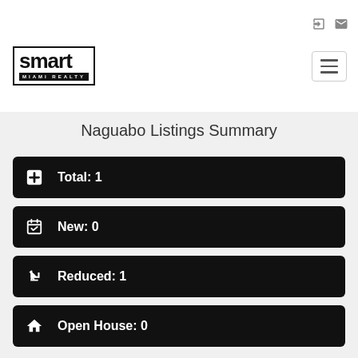Smart Miami Realty - navigation header with login and mail icons and hamburger menu
[Figure (logo): Smart Miami Realty logo: bold 'smart' text with 'MIAMI REALTY' below in a bordered box]
Naguabo Listings Summary
Total: 1
New: 0
Reduced: 1
Open House: 0